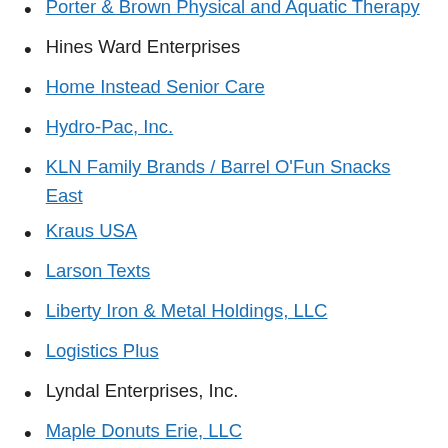Porter & Brown Physical and Aquatic Therapy (truncated at top)
Hines Ward Enterprises
Home Instead Senior Care
Hydro-Pac, Inc.
KLN Family Brands / Barrel O'Fun Snacks East
Kraus USA
Larson Texts
Liberty Iron & Metal Holdings, LLC
Logistics Plus
Lyndal Enterprises, Inc.
Maple Donuts Erie, LLC
McBrier Properties Group
MKW Management
National Fuel Gas Supply Corp.
Niagara Therapy, LLC
Oz Gas, Ltd.
Penn Ballot Inc. (truncated at bottom)